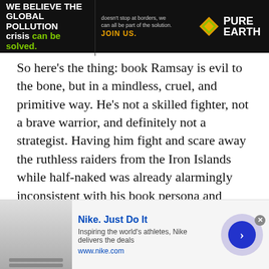[Figure (other): Pure Earth advertisement banner with black background. Left section reads 'We believe the global pollution crisis can be solved.' in white and green text. Middle section: 'doesn't stop at borders, we can all be part of the solution. JOIN US.' Right section shows Pure Earth logo with diamond icon.]
So here's the thing: book Ramsay is evil to the bone, but in a mindless, cruel, and primitive way. He's not a skilled fighter, not a brave warrior, and definitely not a strategist. Having him fight and scare away the ruthless raiders from the Iron Islands while half-naked was already alarmingly inconsistent with his book persona and created an awkward situation in which Yara Greyjoy (who was never supposed to be in that particular location, by the way) stood and watched idly as he opened the cages. Now we have the second red flag: suddenly Ramsay is smart enough to plan a special operation. If I were to guess a reason for such a drastical change in characterization, this is probably supposed to
[Figure (other): Nike advertisement banner at bottom. Thumbnail image on left showing a dark/grey webpage screenshot. Text: 'Nike. Just Do It' in blue bold, 'Inspiring the world's athletes, Nike delivers the deals', 'www.nike.com'. Right side has a circular arrow button on a light purple background. Close (x) button top right.]